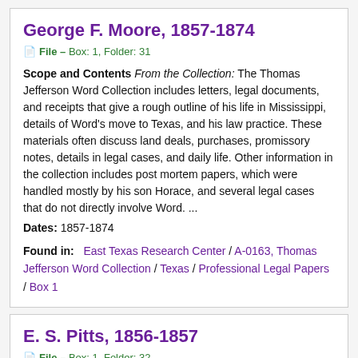George F. Moore, 1857-1874
File – Box: 1, Folder: 31
Scope and Contents From the Collection: The Thomas Jefferson Word Collection includes letters, legal documents, and receipts that give a rough outline of his life in Mississippi, details of Word's move to Texas, and his law practice. These materials often discuss land deals, purchases, promissory notes, details in legal cases, and daily life. Other information in the collection includes post mortem papers, which were handled mostly by his son Horace, and several legal cases that do not directly involve Word. ...
Dates: 1857-1874
Found in: East Texas Research Center / A-0163, Thomas Jefferson Word Collection / Texas / Professional Legal Papers / Box 1
E. S. Pitts, 1856-1857
File – Box: 1, Folder: 32
Scope and Contents From the Collection: The